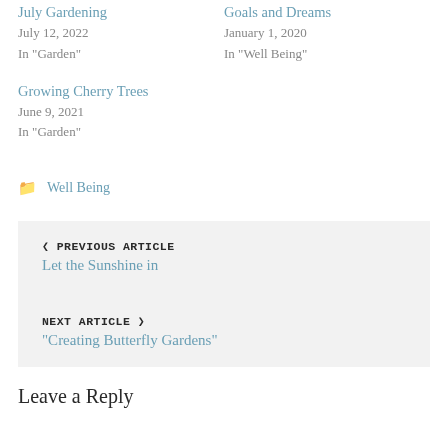July Gardening
July 12, 2022
In "Garden"
Goals and Dreams
January 1, 2020
In "Well Being"
Growing Cherry Trees
June 9, 2021
In "Garden"
Well Being
< PREVIOUS ARTICLE
Let the Sunshine in
NEXT ARTICLE >
"Creating Butterfly Gardens"
Leave a Reply